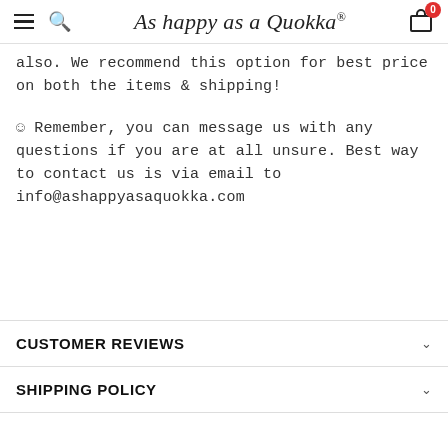As happy as a Quokka®
also. We recommend this option for best price on both the items & shipping!
☺ Remember, you can message us with any questions if you are at all unsure. Best way to contact us is via email to info@ashappyasaquokka.com
CUSTOMER REVIEWS
SHIPPING POLICY